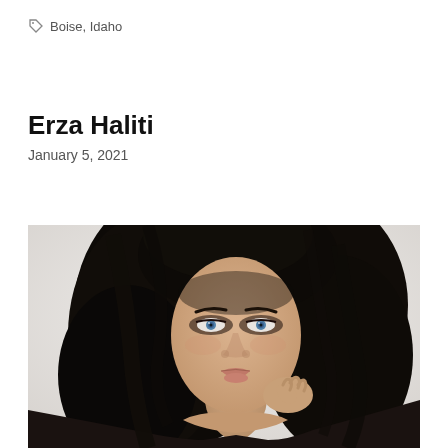Boise, Idaho
Erza Haliti
January 5, 2021
[Figure (photo): Portrait photograph of a woman with long dark wavy hair, blue eyes, wearing a dark off-shoulder outfit, posing against a light gray background. Professional beauty/model style photo.]